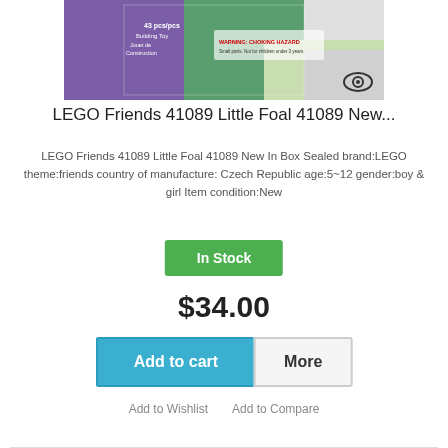[Figure (photo): LEGO Friends 41089 Little Foal product box image showing colorful packaging with a foal toy, warning label, and an eye icon overlay in the bottom right corner]
LEGO Friends 41089 Little Foal 41089 New...
LEGO Friends 41089 Little Foal 41089 New In Box Sealed brand:LEGO theme:friends country of manufacture: Czech Republic age:5~12 gender:boy & girl Item condition:New
In Stock
$34.00
Add to cart
More
Add to Wishlist    Add to Compare